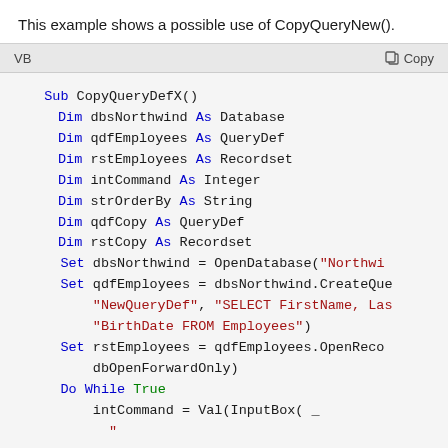This example shows a possible use of CopyQueryNew().
[Figure (screenshot): VB code block showing CopyQueryDefX() subroutine with Dim declarations, Set statements for OpenDatabase and CreateQueryDef, Set rstEmployees with OpenRecordset and dbOpenForwardOnly, and Do While True loop beginning with intCommand = Val(InputBox( _]
VB